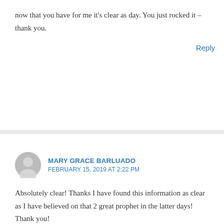now that you have for me it's clear as day. You just rocked it – thank you.
Reply
MARY GRACE BARLUADO
FEBRUARY 15, 2019 AT 2:22 PM
Absolutely clear! Thanks I have found this information as clear as I have believed on that 2 great prophet in the latter days! Thank you!
Reply